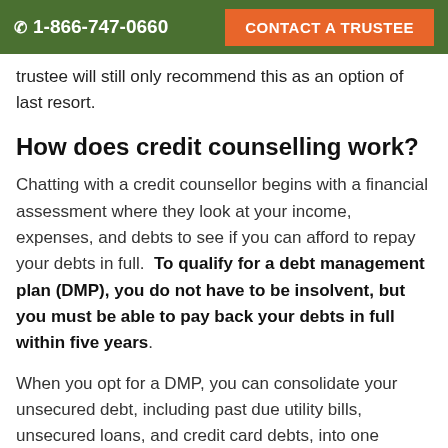1-866-747-0660   CONTACT A TRUSTEE
trustee will still only recommend this as an option of last resort.
How does credit counselling work?
Chatting with a credit counsellor begins with a financial assessment where they look at your income, expenses, and debts to see if you can afford to repay your debts in full.  To qualify for a debt management plan (DMP), you do not have to be insolvent, but you must be able to pay back your debts in full within five years.
When you opt for a DMP, you can consolidate your unsecured debt, including past due utility bills, unsecured loans, and credit card debts, into one monthly payment to the credit counselling company.